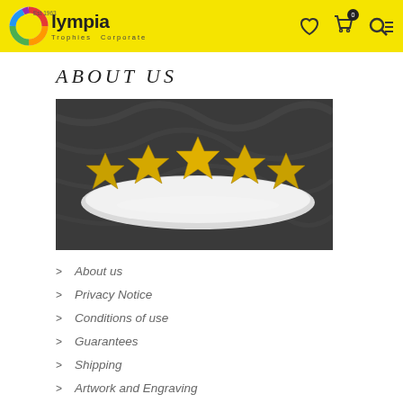Olympia Trophies Corporate Est 1963
ABOUT US
[Figure (photo): Five gold star trophies on a silver/white oval plate against a dark grey draped fabric background]
> About us
> Privacy Notice
> Conditions of use
> Guarantees
> Shipping
> Artwork and Engraving
CONTACT US